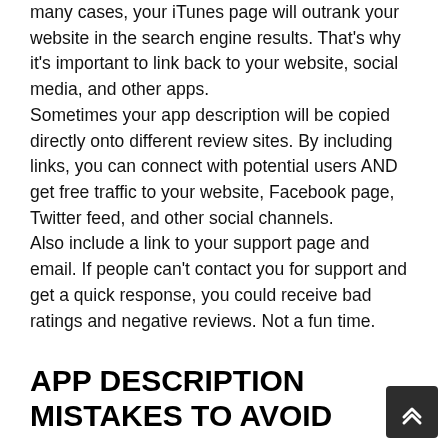many cases, your iTunes page will outrank your website in the search engine results. That's why it's important to link back to your website, social media, and other apps. Sometimes your app description will be copied directly onto different review sites. By including links, you can connect with potential users AND get free traffic to your website, Facebook page, Twitter feed, and other social channels. Also include a link to your support page and email. If people can't contact you for support and get a quick response, you could receive bad ratings and negative reviews. Not a fun time.
APP DESCRIPTION MISTAKES TO AVOID
iOS doesn't measure keywords in descriptions like other platforms do, so don't bother with keyword